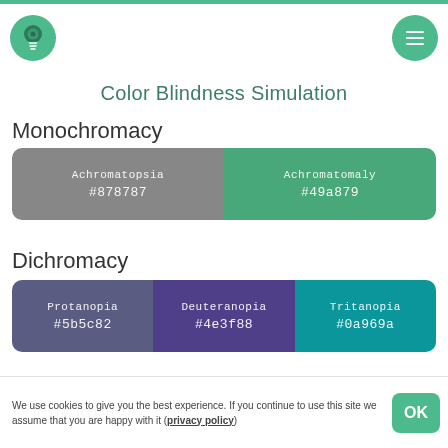Color Blindness Simulation
Color Blindness Simulation
Monochromacy
| Type | Hex |
| --- | --- |
| Achromatopsia | #878787 |
| Achromatomaly | #49a879 |
Dichromacy
| Type | Hex |
| --- | --- |
| Protanopia | #5b5c82 |
| Deuteranopia | #4e3f88 |
| Tritanopia | #0a969a |
Trichromacy
We use cookies to give you the best experience. If you continue to use this site we assume that you are happy with it (privacy policy)